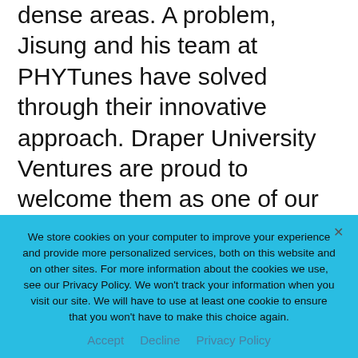dense areas. A problem, Jisung and his team at PHYTunes have solved through their innovative approach. Draper University Ventures are proud to welcome them as one of our portfolio companies and look forward to working with them as they advance their vision for a network without limits."

The PHYTunes team demonstrated its innovative approach to wireless-wireline
We store cookies on your computer to improve your experience and provide more personalized services, both on this website and on other sites. For more information about the cookies we use, see our Privacy Policy. We won't track your information when you visit our site. We will have to use at least one cookie to ensure that you won't have to make this choice again.
Accept   Decline   Privacy Policy